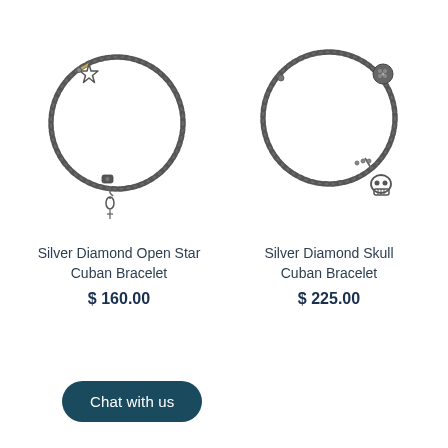[Figure (photo): Silver Diamond Open Star Cuban Bracelet - dark silver chain bracelet arranged in a circle with a star charm at top and small hanging charm at bottom]
[Figure (photo): Silver Diamond Skull Cuban Bracelet - dark silver chain bracelet arranged in a circle with a round clasp at top and a skull charm at bottom right]
Silver Diamond Open Star Cuban Bracelet
$ 160.00
Silver Diamond Skull Cuban Bracelet
$ 225.00
Chat with us